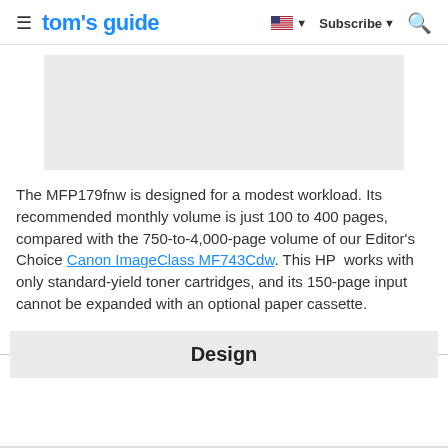tom's guide — Subscribe — Search
[Figure (other): Gray advertisement placeholder rectangle]
The MFP179fnw is designed for a modest workload. Its recommended monthly volume is just 100 to 400 pages, compared with the 750-to-4,000-page volume of our Editor's Choice Canon ImageClass MF743Cdw. This HP works with only standard-yield toner cartridges, and its 150-page input cannot be expanded with an optional paper cassette.
Design